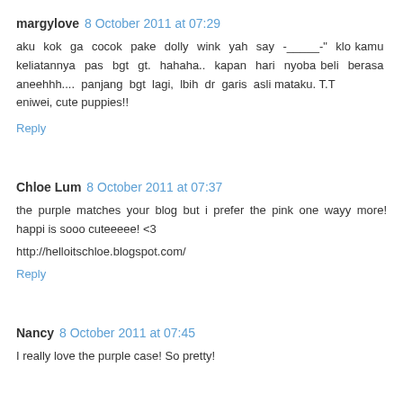margylove 8 October 2011 at 07:29
aku kok ga cocok pake dolly wink yah say -_____-" klo kamu keliatannya pas bgt gt. hahaha.. kapan hari nyoba beli berasa aneehhh.... panjang bgt lagi, lbih dr garis asli mataku. T.T
eniwei, cute puppies!!
Reply
Chloe Lum 8 October 2011 at 07:37
the purple matches your blog but i prefer the pink one wayy more! happi is sooo cuteeeee! <3
http://helloitschloe.blogspot.com/
Reply
Nancy 8 October 2011 at 07:45
I really love the purple case! So pretty!